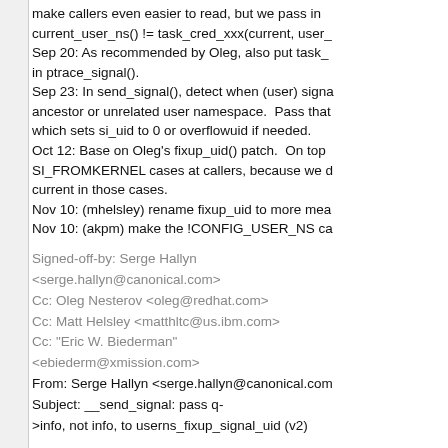make callers even easier to read, but we pass in current_user_ns() != task_cred_xxx(current, user_
Sep 20: As recommended by Oleg, also put task_
in ptrace_signal().
Sep 23: In send_signal(), detect when (user) signa
ancestor or unrelated user namespace.  Pass that
which sets si_uid to 0 or overflowuid if needed.
Oct 12: Base on Oleg's fixup_uid() patch.  On top
SI_FROMKERNEL cases at callers, because we d
current in those cases.
Nov 10: (mhelsley) rename fixup_uid to more mea
Nov 10: (akpm) make the !CONFIG_USER_NS ca
Signed-off-by: Serge Hallyn
<serge.hallyn@canonical.com>
Cc: Oleg Nesterov <oleg@redhat.com>
Cc: Matt Helsley <matthltc@us.ibm.com>
Cc: "Eric W. Biederman"
<ebiederm@xmission.com>
From: Serge Hallyn <serge.hallyn@canonical.com
Subject: __send_signal: pass q-
>info, not info, to userns_fixup_signal_uid (v2)
Eric Biederman pointed out that passing info is a b
NULL pointer deref to boot.
A collection of signal, securebits, filecaps, cap_bo
ltp tests passed with this kernel.
Changelog: